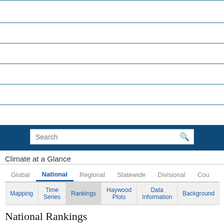Home
Climate Information
Data Access
Customer Support
Contact
About
Climate at a Glance
Global  National  Regional  Statewide  Divisional  Coun
Mapping  Time Series  Rankings  Haywood Plots  Data Information  Background
National Rankings